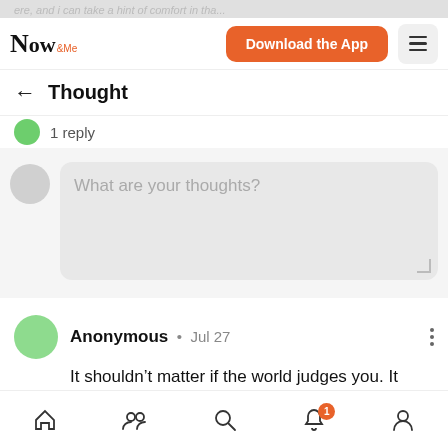Now & Me — Download the App
← Thought
1 reply
What are your thoughts?
Anonymous • Jul 27
It shouldn't matter if the world judges you. It really doesn't matter. Do your own thing.
Reply
Home | Friends | Search | Notifications (1) | Profile